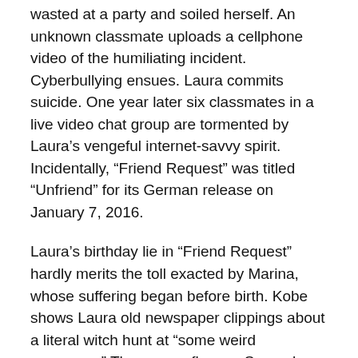wasted at a party and soiled herself. An unknown classmate uploads a cellphone video of the humiliating incident. Cyberbullying ensues. Laura commits suicide. One year later six classmates in a live video chat group are tormented by Laura’s vengeful internet-savvy spirit. Incidentally, “Friend Request” was titled “Unfriend” for its German release on January 7, 2016.
Laura’s birthday lie in “Friend Request” hardly merits the toll exacted by Marina, whose suffering began before birth. Kobe shows Laura old newspaper clippings about a literal witch hunt at “some weird commune.” There were flames. Severely burned and unconscious, Marina’s pregnant mother survived until doctors performed a C-section. “She was alone in the womb for months,” says Kobe. “Jesus, she was always alone,” says Laura.